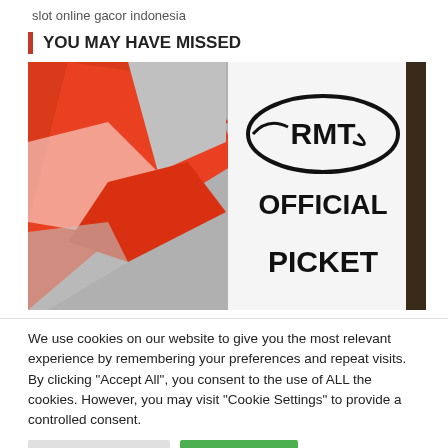slot online gacor indonesia
YOU MAY HAVE MISSED
[Figure (photo): Photo of an RMT Official Picket sign next to red and white flag or banner material]
We use cookies on our website to give you the most relevant experience by remembering your preferences and repeat visits. By clicking "Accept All", you consent to the use of ALL the cookies. However, you may visit "Cookie Settings" to provide a controlled consent.
Cookie Settings | Accept All